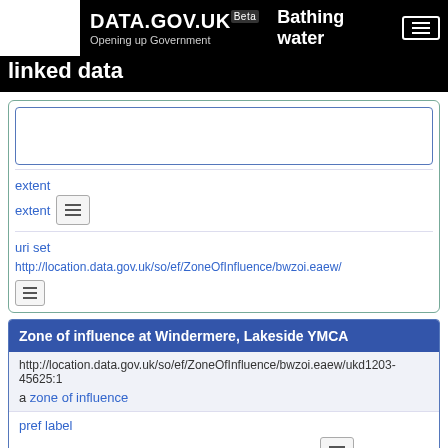DATA.GOV.UK Beta — Bathing water linked data
extent
extent [icon button]
uri set
http://location.data.gov.uk/so/ef/ZoneOfInfluence/bwzoi.eaew/
Zone of influence at Windermere, Lakeside YMCA
http://location.data.gov.uk/so/ef/ZoneOfInfluence/bwzoi.eaew/ukd1203-45625:1
a zone of influence
pref label
Zone of influence at Windermere, Lakeside YMCA